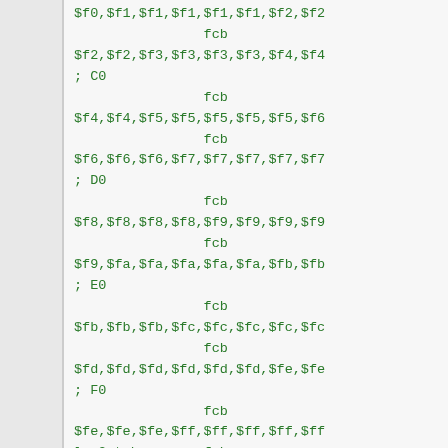$f0,$f1,$f1,$f1,$f1,$f1,$f2,$f2
                fcb
$f2,$f2,$f3,$f3,$f3,$f3,$f4,$f4
; C0
                fcb
$f4,$f4,$f5,$f5,$f5,$f5,$f5,$f6
                fcb
$f6,$f6,$f6,$f7,$f7,$f7,$f7,$f7
; D0
                fcb
$f8,$f8,$f8,$f8,$f9,$f9,$f9,$f9
                fcb
$f9,$fa,$fa,$fa,$fa,$fa,$fb,$fb
; E0
                fcb
$fb,$fb,$fb,$fc,$fc,$fc,$fc,$fc
                fcb
$fd,$fd,$fd,$fd,$fd,$fd,$fe,$fe
; F0
                fcb
$fe,$fe,$fe,$ff,$ff,$ff,$ff,$ff
log2_tab        fcb
$00,$00,$20,$32,$40,$4a,$52,$59
; 00
                fcb